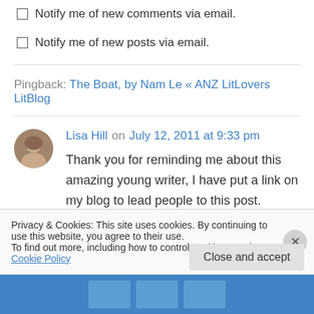Notify me of new comments via email.
Notify me of new posts via email.
Pingback: The Boat, by Nam Le « ANZ LitLovers LitBlog
Lisa Hill on July 12, 2011 at 9:33 pm
Thank you for reminding me about this amazing young writer, I have put a link on my blog to lead people to this post.
Privacy & Cookies: This site uses cookies. By continuing to use this website, you agree to their use.
To find out more, including how to control cookies, see here: Cookie Policy
Close and accept